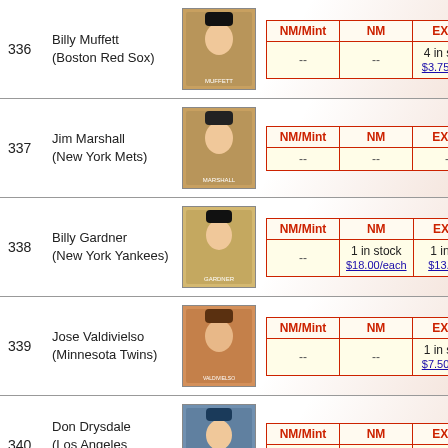| NM/Mint | NM | EXMT |
| --- | --- | --- |
| -- | -- | 4 in stock $3.75/each |
| NM/Mint | NM | EXMT |
| --- | --- | --- |
| -- | -- | -- |
| NM/Mint | NM | EXMT |
| --- | --- | --- |
| -- | 1 in stock $18.00/each | 1 in stock $13.50/each |
| NM/Mint | NM | EXMT |
| --- | --- | --- |
| -- | -- | 1 in stock $7.50/each |
| NM/Mint | NM | EXMT |
| --- | --- | --- |
| -- | -- | -- |